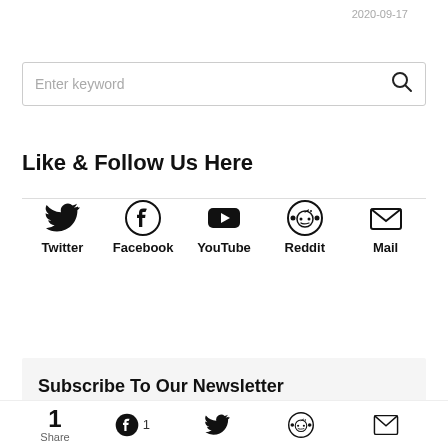2020-09-17
Enter keyword
Like & Follow Us Here
[Figure (infographic): Social media icons: Twitter, Facebook, YouTube, Reddit, Mail with bold labels below each icon]
Subscribe To Our Newsletter
1 Share | Facebook 1 | Twitter | Reddit | Mail